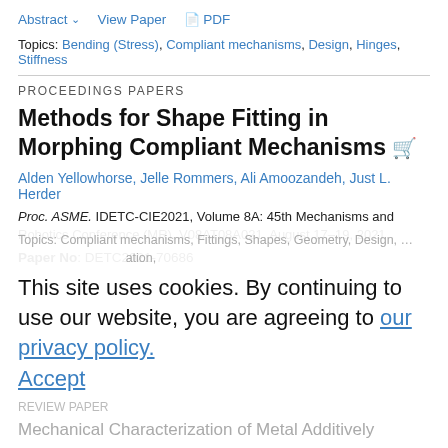Abstract  View Paper  PDF
Topics: Bending (Stress), Compliant mechanisms, Design, Hinges, Stiffness
PROCEEDINGS PAPERS
Methods for Shape Fitting in Morphing Compliant Mechanisms
Alden Yellowhorse, Jelle Rommers, Ali Amoozandeh, Just L. Herder
Proc. ASME. IDETC-CIE2021, Volume 8A: 45th Mechanisms and Robotics Conference (MR), V08AT08A021, August 17–19, 2021
Paper No: DETC2021-70686
DOI: https://doi.org/10.1115/DETC2021-70686
Abstract  View Paper  PDF
Topics: Compliant mechanisms, Fittings, Shapes, Geometry, Design, ...
This site uses cookies. By continuing to use our website, you are agreeing to our privacy policy.
Accept
Mechanical Characterization of Metal Additively